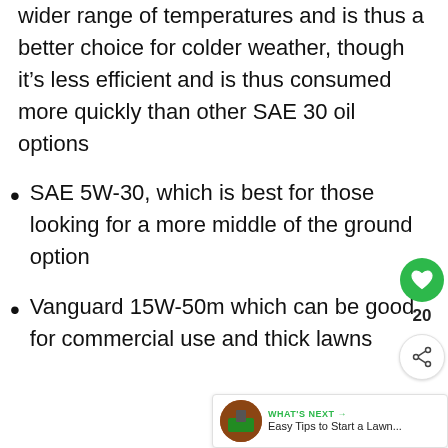wider range of temperatures and is thus a better choice for colder weather, though it's less efficient and is thus consumed more quickly than other SAE 30 oil options
SAE 5W-30, which is best for those looking for a more middle of the ground option
Vanguard 15W-50m which can be good for commercial use and thick lawns